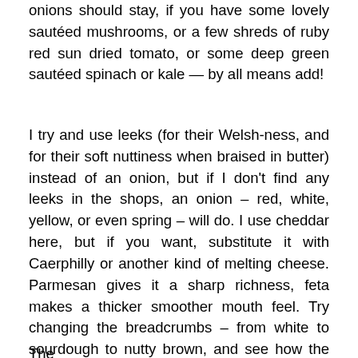onions should stay, if you have some lovely sautéed mushrooms, or a few shreds of ruby red sun dried tomato, or some deep green sautéed spinach or kale — by all means add!
I try and use leeks (for their Welsh-ness, and for their soft nuttiness when braised in butter) instead of an onion, but if I don't find any leeks in the shops, an onion – red, white, yellow, or even spring – will do. I use cheddar here, but if you want, substitute it with Caerphilly or another kind of melting cheese. Parmesan gives it a sharp richness, feta makes a thicker smoother mouth feel. Try changing the breadcrumbs – from white to sourdough to nutty brown, and see how the taste (and texture) changes. White bread adds lightness, while brown makes these sausages much more dense and thick.
The...